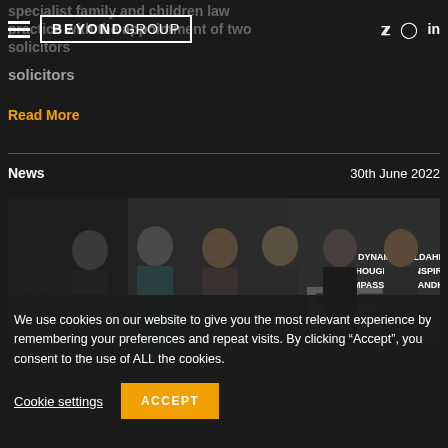BEYOND GROUP
specialist family and children law practice with the appointment of two solicitors
Read More
News    30th June 2022
[Figure (photo): Group photo of Beyond Group team members standing in front of a branded wall displaying 'DYNAMIC BOLD AHEAD KIND THOUGHTFUL INSPIRATIONAL COMPASSIONATE AND HAPPY BE']
We use cookies on our website to give you the most relevant experience by remembering your preferences and repeat visits. By clicking “Accept”, you consent to the use of ALL the cookies.
Cookie settings
ACCEPT